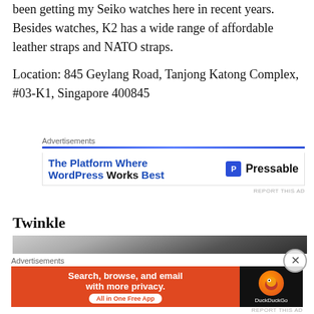been getting my Seiko watches here in recent years. Besides watches, K2 has a wide range of affordable leather straps and NATO straps.
Location: 845 Geylang Road, Tanjong Katong Complex, #03-K1, Singapore 400845
[Figure (infographic): Advertisement banner for Pressable: 'The Platform Where WordPress Works Best']
Twinkle
[Figure (photo): Interior photo showing ceiling tiles and dark overhead structure]
[Figure (infographic): Advertisement banner for DuckDuckGo: 'Search, browse, and email with more privacy. All in One Free App']